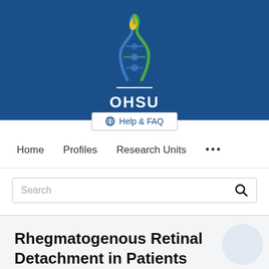[Figure (logo): OHSU (Oregon Health & Science University) logo with flame and DNA helix motif in blue, green, and yellow, with white OHSU text below on blue background]
Help & FAQ
Home   Profiles   Research Units   ...
Search
Rhegmatogenous Retinal Detachment in Patients with Acute Syphilitic Panuveitis